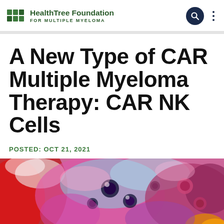HealthTree Foundation FOR MULTIPLE MYELOMA
A New Type of CAR Multiple Myeloma Therapy: CAR NK Cells
POSTED: OCT 21, 2021
[Figure (photo): Microscopic image of cancer cells or NK cells shown in vivid colors — red, pink, blue, and purple — against a colorful cellular background, depicting immune cells attacking myeloma cells.]